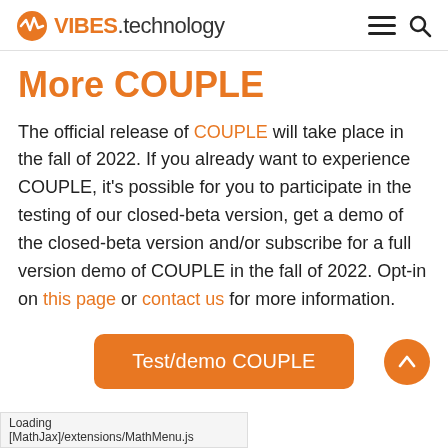VIBES.technology
More COUPLE
The official release of COUPLE will take place in the fall of 2022. If you already want to experience COUPLE, it's possible for you to participate in the testing of our closed-beta version, get a demo of the closed-beta version and/or subscribe for a full version demo of COUPLE in the fall of 2022. Opt-in on this page or contact us for more information.
[Figure (other): Orange rounded rectangle button labeled 'Test/demo COUPLE' and an orange circular up-arrow button]
Loading [MathJax]/extensions/MathMenu.js